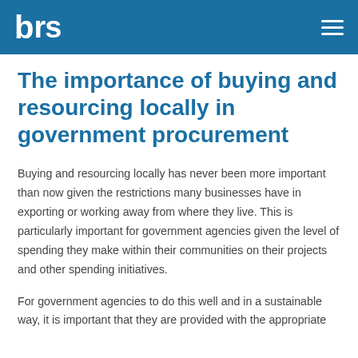brs
The importance of buying and resourcing locally in government procurement
Buying and resourcing locally has never been more important than now given the restrictions many businesses have in exporting or working away from where they live. This is particularly important for government agencies given the level of spending they make within their communities on their projects and other spending initiatives.
For government agencies to do this well and in a sustainable way, it is important that they are provided with the appropriate